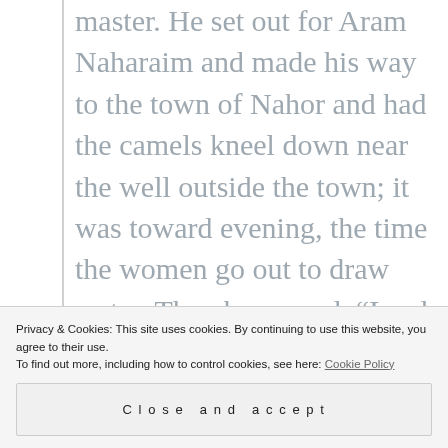master. He set out for Aram Naharaim and made his way to the town of Nahor and had the camels kneel down near the well outside the town; it was toward evening, the time the women go out to draw water. Then he prayed, “Lord, God of my master Abraham, make me successful today, and show kindness to my master Abraham. See, I am standing beside this spring, and the daughters of the townspeople are coming out to draw water. May it be that when I say to a young woman, ‘Please let down your jar that I may have a
master.” Before he had finished praying,
Privacy & Cookies: This site uses cookies. By continuing to use this website, you agree to their use.
To find out more, including how to control cookies, see here: Cookie Policy
Close and accept